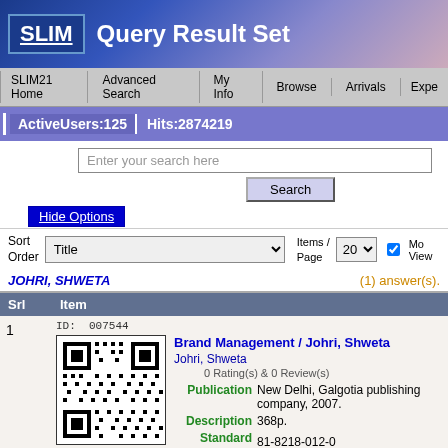SLIM Query Result Set
SLIM21 Home | Advanced Search | My Info | Browse | Arrivals | Expe
ActiveUsers:125  Hits:2874219
Enter your search here
Search
Hide Options
Sort Order: Title  Items / Page: 20  Mo View
JOHRI, SHWETA  (1) answer(s).
| Srl | Item |
| --- | --- |
| 1 | ID: 007544
Brand Management / Johri, Shweta
Johri, Shweta
0 Rating(s) & 0 Review(s)
Publication: New Delhi, Galgotia publishing company, 2007.
Description: 368p.
Standard Number: 81-8218-012-0
Key Words: Brand Management |